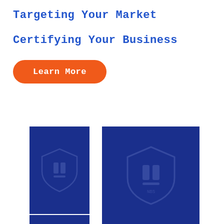Targeting Your Market
Certifying Your Business
Learn More
[Figure (illustration): Two dark blue rectangular card panels with faint shield/logo watermark icons, side by side, partially cropped at bottom]
[Figure (illustration): Bottom edge of a third blue card panel partially visible]